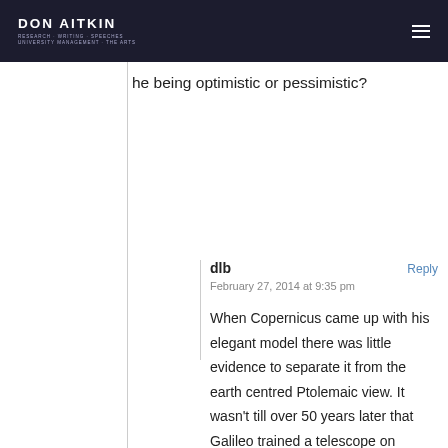DON AITKIN
he being optimistic or pessimistic?
dlb
February 27, 2014 at 9:35 pm

When Copernicus came up with his elegant model there was little evidence to separate it from the earth centred Ptolemaic view. It wasn't till over 50 years later that Galileo trained a telescope on Venus seeing its phases,